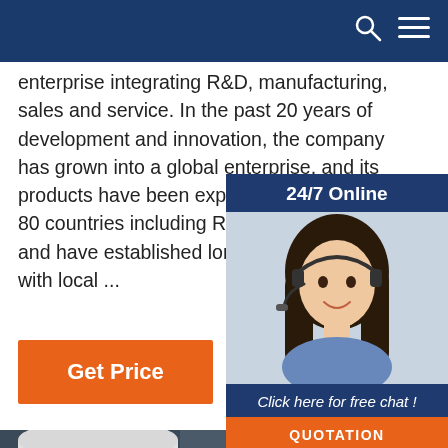enterprise integrating R&D, manufacturing, sales and service. In the past 20 years of development and innovation, the company has grown into a global enterprise, and its products have been exported to more than 80 countries including Russia and Thailand, and have established long-lasting relations with local ...
Get Price
[Figure (photo): Customer service representative woman wearing a headset, smiling, with '24/7 Online' label and 'Click here for free chat!' text and QUOTATION button overlay]
[Figure (photo): Industrial water heater/boiler equipment photo showing large white cylindrical tanks with control panel]
[Figure (illustration): Orange 'TOP' button with dot triangle icon in bottom right of photo]